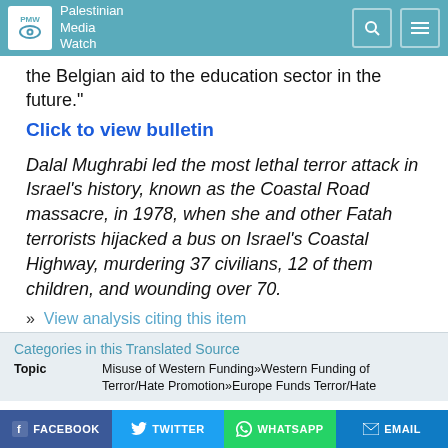Palestinian Media Watch
the Belgian aid to the education sector in the future."
Click to view bulletin
Dalal Mughrabi led the most lethal terror attack in Israel's history, known as the Coastal Road massacre, in 1978, when she and other Fatah terrorists hijacked a bus on Israel's Coastal Highway, murdering 37 civilians, 12 of them children, and wounding over 70.
» View analysis citing this item
Categories in this Translated Source
Topic    Misuse of Western Funding»Western Funding of Terror/Hate Promotion»Europe Funds Terror/Hate
FACEBOOK  TWITTER  WHATSAPP  EMAIL